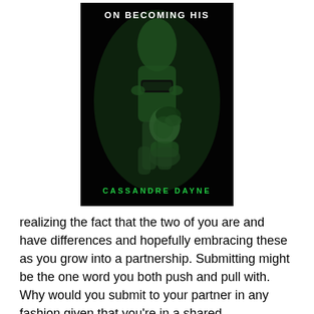[Figure (illustration): Book cover for 'On Becoming His' by Cassandre Dayne. Dark/black background with green-tinted figures of two people, one standing and one kneeling. Title 'On Becoming His' in white bold text at top, author name 'Cassandre Dayne' in green text at bottom.]
realizing the fact that the two of you are and have differences and hopefully embracing these as you grow into a partnership. Submitting might be the one word you both push and pull with. Why would you submit to your partner in any fashion given that you're in a shared relationship? Sounds horrible, doesn't it? Well, after having experienced many partnerships in business and